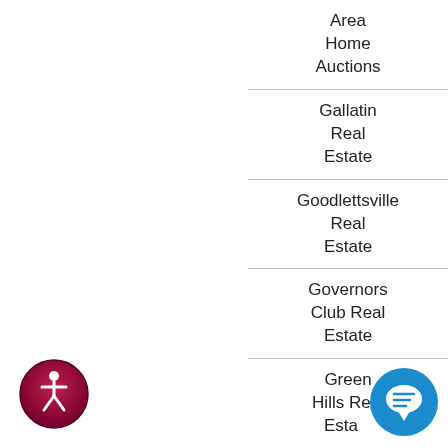Area Home Auctions
Gallatin Real Estate
Goodlettsville Real Estate
Governors Club Real Estate
Green Hills Real Estate
Greenbrier
[Figure (illustration): Accessibility icon — circular dark red/maroon button with white wheelchair person silhouette]
[Figure (illustration): Chat bubble icon — blue circular button with white speech bubble and chat symbol]